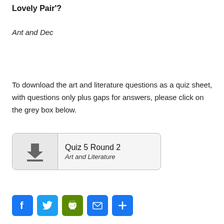Lovely Pair'?
Ant and Dec
To download the art and literature questions as a quiz sheet, with questions only plus gaps for answers, please click on the grey box below.
[Figure (other): Download button box showing a download icon on the left and text 'Quiz 5 Round 2 / Art and Literature' on the right]
[Figure (other): Social sharing icons: Facebook, Twitter, Print, Email, and a Plus/More button]